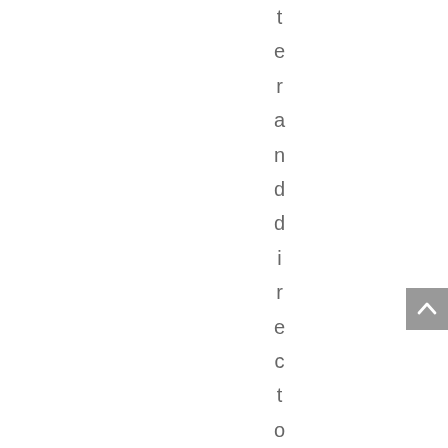teranddirector, John
[Figure (other): Scroll-to-top button (grey square with upward chevron arrow)]